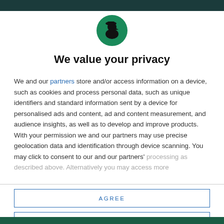[Figure (logo): Round dark green circle with a black silhouette of a person wearing a hat facing right]
We value your privacy
We and our partners store and/or access information on a device, such as cookies and process personal data, such as unique identifiers and standard information sent by a device for personalised ads and content, ad and content measurement, and audience insights, as well as to develop and improve products. With your permission we and our partners may use precise geolocation data and identification through device scanning. You may click to consent to our and our partners' processing as described above. Alternatively you may access more
AGREE
MORE OPTIONS